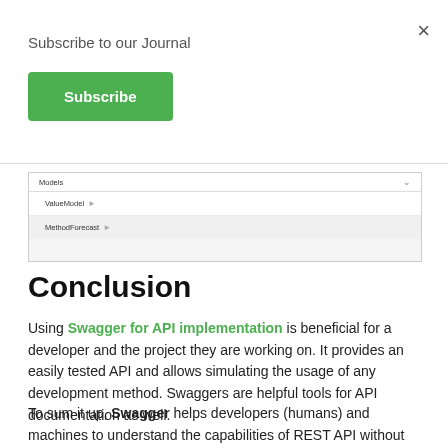Subscribe to our Journal
Subscribe
[Figure (screenshot): Swagger UI models panel showing ValueModel and MethodForecast rows]
Conclusion
Using Swagger for API implementation is beneficial for a developer and the project they are working on. It provides an easily tested API and allows simulating the usage of any development method. Swaggers are helpful tools for API documentation as well.
To sum it up, Swagger helps developers (humans) and machines to understand the capabilities of REST API without actually depending on interpreting the source